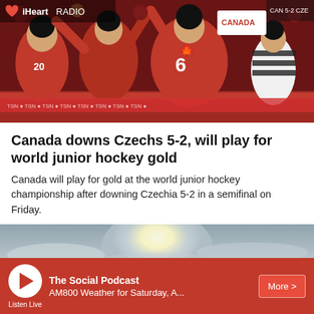[Figure (photo): Ice hockey celebration scene with players in red Canada jerseys, number 6 visible, crowd in background, referee in striped shirt, iHeartRadio logo overlay in top left]
Canada downs Czechs 5-2, will play for world junior hockey gold
Canada will play for gold at the world junior hockey championship after downing Czechia 5-2 in a semifinal on Friday.
[Figure (photo): Overcast sky photo with sun halo/glow visible through clouds, grey-blue tones]
The Social Podcast
AM800 Weather for Saturday, A...
Listen Live